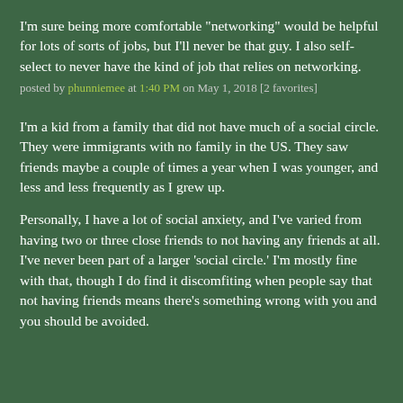I'm sure being more comfortable "networking" would be helpful for lots of sorts of jobs, but I'll never be that guy. I also self-select to never have the kind of job that relies on networking.
posted by phunniemee at 1:40 PM on May 1, 2018 [2 favorites]
I'm a kid from a family that did not have much of a social circle. They were immigrants with no family in the US. They saw friends maybe a couple of times a year when I was younger, and less and less frequently as I grew up.
Personally, I have a lot of social anxiety, and I've varied from having two or three close friends to not having any friends at all. I've never been part of a larger 'social circle.' I'm mostly fine with that, though I do find it discomfiting when people say that not having friends means there's something wrong with you and you should be avoided.